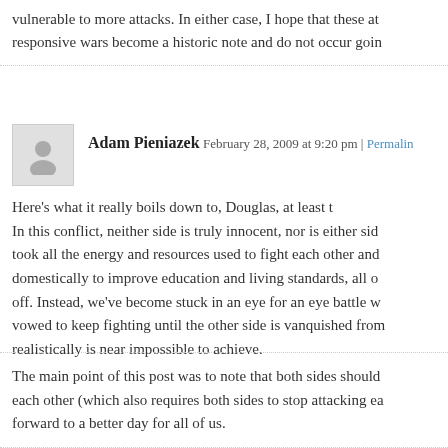vulnerable to more attacks. In either case, I hope that these at responsive wars become a historic note and do not occur goin
Here's what it really boils down to, Douglas, at least t In this conflict, neither side is truly innocent, nor is either sid took all the energy and resources used to fight each other and domestically to improve education and living standards, all o off. Instead, we've become stuck in an eye for an eye battle w vowed to keep fighting until the other side is vanquished from realistically is near impossible to achieve.
The main point of this post was to note that both sides should each other (which also requires both sides to stop attacking ea forward to a better day for all of us.